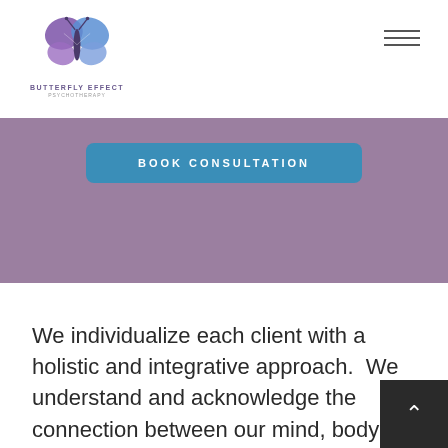[Figure (logo): Butterfly Effect Psychotherapy logo with colorful butterfly graphic and text below]
BOOK CONSULTATION
We individualize each client with a holistic and integrative approach.  We understand and acknowledge the connection between our mind, body and soul; together we support you with making changes that will help you strengthen each of these